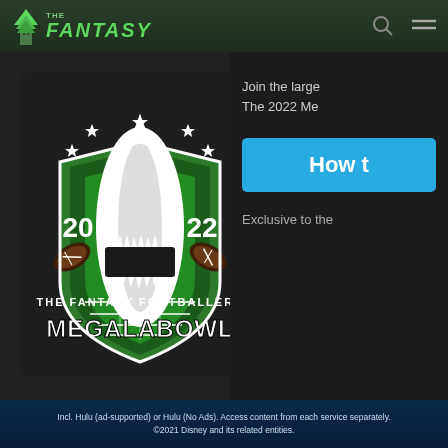THE FANTASY
[Figure (logo): The Fantasy Footballers Megalabowl 2022 logo featuring a shark breaking through a shield with football helmets and stars, text reads THE FANTASY FOOTBALLERS MEGALABOWL 20 22]
It's ba
Join the large
The 2022 Me
How t
Exclusive to the
Incl. Hulu (ad-supported) or Hulu (No Ads). Access content from each service separately.
©2021 Disney and its related entities.